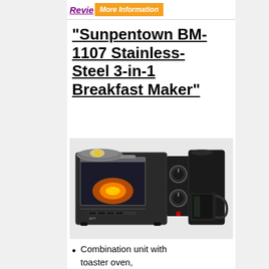Revie  More Information
"Sunpentown BM-1107 Stainless-Steel 3-in-1 Breakfast Maker"
[Figure (photo): Photo of the Sunpentown BM-1107 Stainless-Steel 3-in-1 Breakfast Maker, a combination kitchen appliance featuring a toaster oven with visible glowing heating elements, control knobs in the center, and a coffee maker with a glass carafe on the right side. The appliance also has a griddle/frying pan on top left.]
Combination unit with toaster oven,